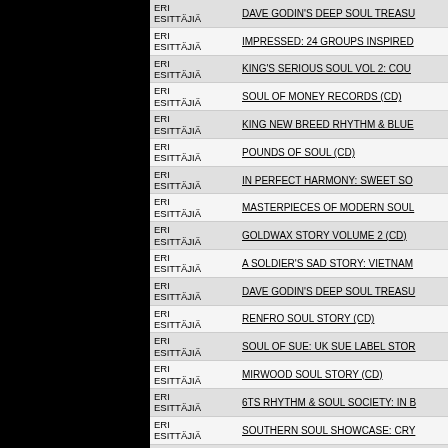| Artist | Title |
| --- | --- |
| ERI ESITTÄJIÄ | DAVE GODIN'S DEEP SOUL TREASU |
| ERI ESITTÄJIÄ | IMPRESSED: 24 GROUPS INSPIRED |
| ERI ESITTÄJIÄ | KING'S SERIOUS SOUL VOL 2: COU |
| ERI ESITTÄJIÄ | SOUL OF MONEY RECORDS (CD) |
| ERI ESITTÄJIÄ | KING NEW BREED RHYTHM & BLUE |
| ERI ESITTÄJIÄ | POUNDS OF SOUL (CD) |
| ERI ESITTÄJIÄ | IN PERFECT HARMONY: SWEET SO |
| ERI ESITTÄJIÄ | MASTERPIECES OF MODERN SOUL |
| ERI ESITTÄJIÄ | GOLDWAX STORY VOLUME 2 (CD) |
| ERI ESITTÄJIÄ | A SOLDIER'S SAD STORY: VIETNAM |
| ERI ESITTÄJIÄ | DAVE GODIN'S DEEP SOUL TREASU |
| ERI ESITTÄJIÄ | RENFRO SOUL STORY (CD) |
| ERI ESITTÄJIÄ | SOUL OF SUE: UK SUE LABEL STOR |
| ERI ESITTÄJIÄ | MIRWOOD SOUL STORY (CD) |
| ERI ESITTÄJIÄ | 6TS RHYTHM & SOUL SOCIETY: IN B |
| ERI ESITTÄJIÄ | SOUTHERN SOUL SHOWCASE: CRY |
| ERI ESITTÄJIÄ | OLD TOWN & BARRY SOUL SURVEY |
| ERI ESITTÄJIÄ | DOES ANYBODY KNOW I'M HERE? 72 (CD) |